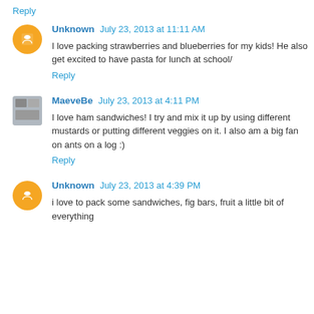Reply
Unknown July 23, 2013 at 11:11 AM
I love packing strawberries and blueberries for my kids! He also get excited to have pasta for lunch at school/
Reply
MaeveBe July 23, 2013 at 4:11 PM
I love ham sandwiches! I try and mix it up by using different mustards or putting different veggies on it. I also am a big fan on ants on a log :)
Reply
Unknown July 23, 2013 at 4:39 PM
i love to pack some sandwiches, fig bars, fruit a little bit of everything